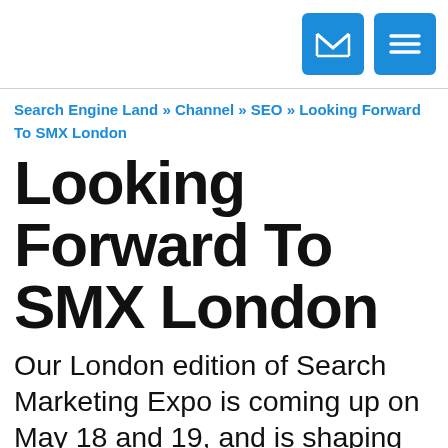[email icon] [menu icon]
Search Engine Land » Channel » SEO » Looking Forward To SMX London
Looking Forward To SMX London
Our London edition of Search Marketing Expo is coming up on May 18 and 19, and is shaping up to be a terrific show. We've got some of the best search marketers